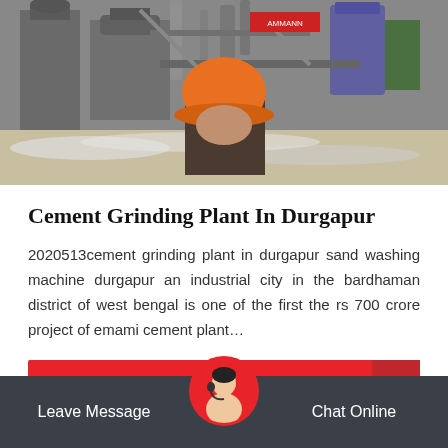[Figure (photo): Industrial cement plant with large machinery and silos in the background; a worker wearing an orange hard hat viewed from behind in the foreground.]
Cement Grinding Plant In Durgapur
2020513cement grinding plant in durgapur sand washing machine durgapur an industrial city in the bardhaman district of west bengal is one of the first the rs 700 crore project of emami cement plant…
Further Details
Leave Message   Chat Online